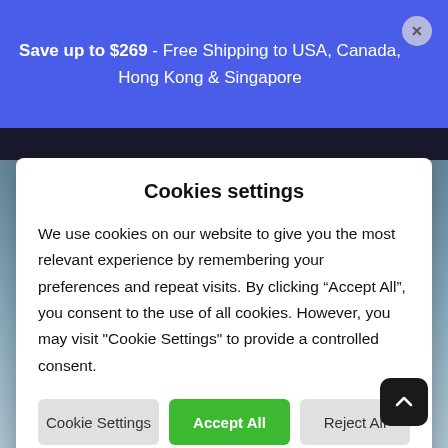Save up to $269 - Free Shipping to USA, Canada, Hong Kong & Singapore
Cookies settings
We use cookies on our website to give you the most relevant experience by remembering your preferences and repeat visits. By clicking “Accept All”, you consent to the use of all cookies. However, you may visit "Cookie Settings" to provide a controlled consent.
Cookie Settings
Accept All
Reject All